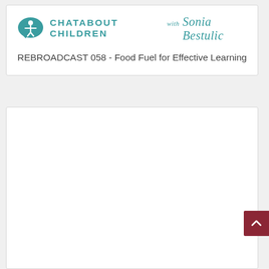[Figure (logo): Chatabout Children with Sonia Bestulic podcast logo — teal speech bubble with a child figure icon, followed by brand name text in teal]
REBROADCAST 058 - Food Fuel for Effective Learning
[Figure (other): Empty white card/content area below the title card]